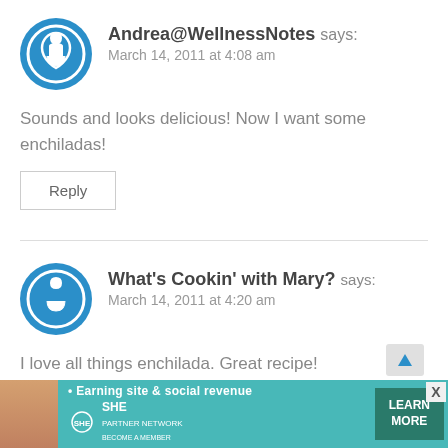Andrea@WellnessNotes says: March 14, 2011 at 4:08 am
Sounds and looks delicious! Now I want some enchiladas!
Reply
What's Cookin' with Mary? says: March 14, 2011 at 4:20 am
I love all things enchilada. Great recipe!
[Figure (screenshot): SHE Media partner network advertisement banner with woman photo, tagline 'Earning site & social revenue', SHE Media logo, and 'LEARN MORE' button]